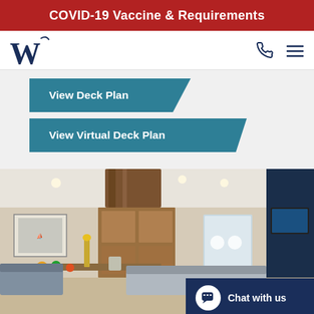COVID-19 Vaccine & Requirements
[Figure (logo): W cursive logo for Windstar Cruises in dark navy blue]
View Deck Plan
View Virtual Deck Plan
[Figure (photo): Interior of a cruise ship cabin/lounge showing wooden paneling, sofas, a dining table with fruit and flowers, framed nautical artwork, and a flat-screen TV mounted on the wall with natural light from a porthole window.]
Chat with us